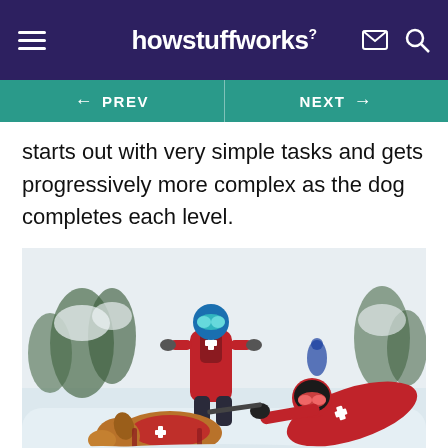howstuffworks
← PREV   NEXT →
starts out with very simple tasks and gets progressively more complex as the dog completes each level.
[Figure (photo): Two ski patrol rescuers in red jackets and goggles in snowy mountain terrain, with a dog wearing a red search-and-rescue vest; one rescuer is lying in the snow reaching toward the dog with a training tool.]